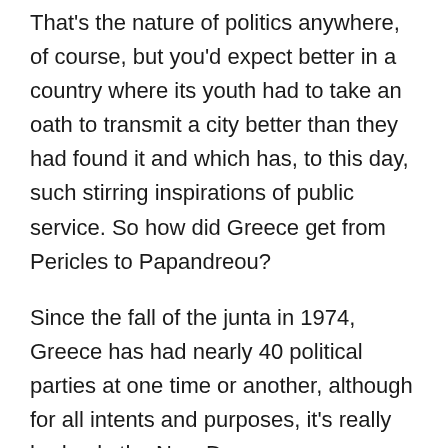That's the nature of politics anywhere, of course, but you'd expect better in a country where its youth had to take an oath to transmit a city better than they had found it and which has, to this day, such stirring inspirations of public service. So how did Greece get from Pericles to Papandreou?
Since the fall of the junta in 1974, Greece has had nearly 40 political parties at one time or another, although for all intents and purposes, it's really had only the New Democracy Capitalists and their erstwhile rival, the PASOK Anti-Socialists, the same way that Panathinaikos and Olympiakos are the only two teams in basketball and soccer that matter.